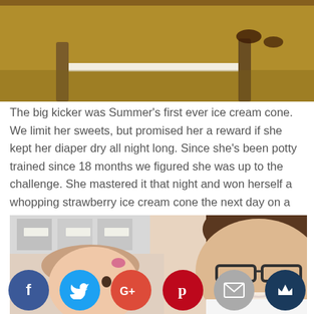[Figure (photo): Top partial photo showing carpet/rug with chair legs and a white stripe, appears to be a floor-level view]
The big kicker was Summer's first ever ice cream cone. We limit her sweets, but promised her a reward if she kept her diaper dry all night long. Since she's been potty trained since 18 months we figured she was up to the challenge. She mastered it that night and won herself a whopping strawberry ice cream cone the next day on a Daddy-little girl date.
[Figure (photo): Photo of a young toddler girl and a man with glasses smiling at the camera, selfie style, indoors]
[Figure (infographic): Social sharing buttons row: Facebook (blue), Twitter (light blue), Google+ (red), Pinterest (dark red), Email (grey), Crown/unknown (dark blue)]